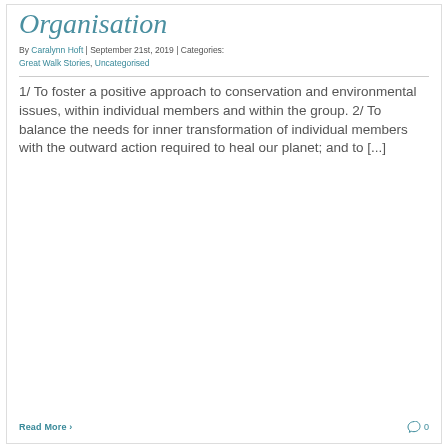Organisation
By Caralynn Hoft | September 21st, 2019 | Categories: Great Walk Stories, Uncategorised
1/ To foster a positive approach to conservation and environmental issues, within individual members and within the group. 2/ To balance the needs for inner transformation of individual members with the outward action required to heal our planet; and to [...]
Read More
0